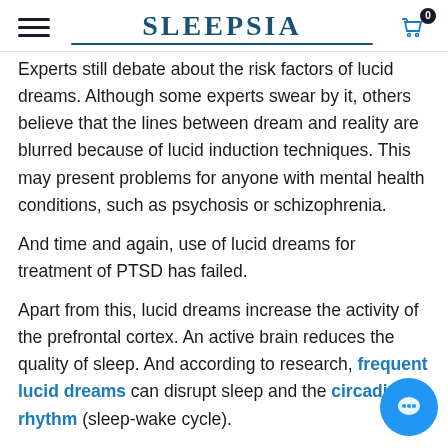SLEEPSIA
Experts still debate about the risk factors of lucid dreams. Although some experts swear by it, others believe that the lines between dream and reality are blurred because of lucid induction techniques. This may present problems for anyone with mental health conditions, such as psychosis or schizophrenia.
And time and again, use of lucid dreams for treatment of PTSD has failed.
Apart from this, lucid dreams increase the activity of the prefrontal cortex. An active brain reduces the quality of sleep. And according to research, frequent lucid dreams can disrupt sleep and the circadian rhythm (sleep-wake cycle).